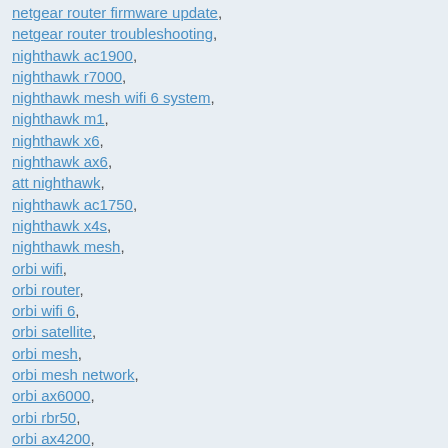netgear router firmware update,
netgear router troubleshooting,
nighthawk ac1900,
nighthawk r7000,
nighthawk mesh wifi 6 system,
nighthawk m1,
nighthawk x6,
nighthawk ax6,
att nighthawk,
nighthawk ac1750,
nighthawk x4s,
nighthawk mesh,
orbi wifi,
orbi router,
orbi wifi 6,
orbi satellite,
orbi mesh,
orbi mesh network,
orbi ax6000,
orbi rbr50,
orbi ax4200,
orbi app,
orbi mesh wifi,
costco orbi,
net gear orbi,